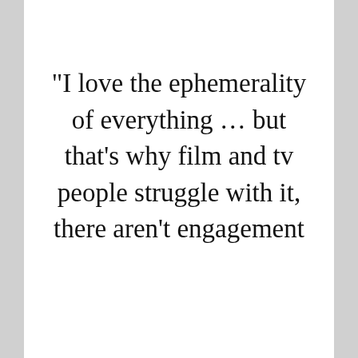“I love the ephemerality of everything … but that’s why film and tv people struggle with it, there aren’t engagement